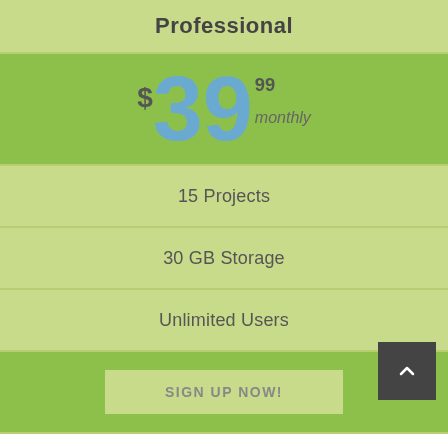Professional
$39.99 monthly
15 Projects
30 GB Storage
Unlimited Users
SIGN UP NOW!
Change Background Color